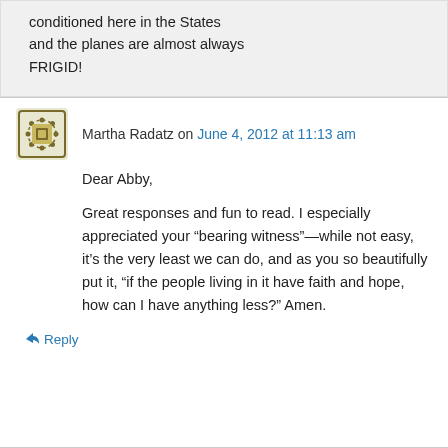conditioned here in the States and the planes are almost always FRIGID!
Martha Radatz on June 4, 2012 at 11:13 am
Dear Abby,
Great responses and fun to read. I especially appreciated your “bearing witness”—while not easy, it’s the very least we can do, and as you so beautifully put it, “if the people living in it have faith and hope, how can I have anything less?” Amen.
↳ Reply